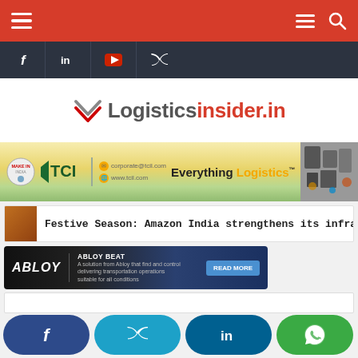Navigation bar with hamburger menu, search, and social icons
[Figure (logo): Logisticsinsider.in logo with chevron icon, grey and red text]
[Figure (infographic): TCI Transport Corporation of India banner - Everything Logistics advertisement]
Festive Season: Amazon India strengthens its infrastructure
[Figure (infographic): ABLOY BEAT advertisement banner with Read More button]
[Figure (infographic): Social share buttons: Facebook, Twitter, LinkedIn, WhatsApp, WhatsApp floating button]